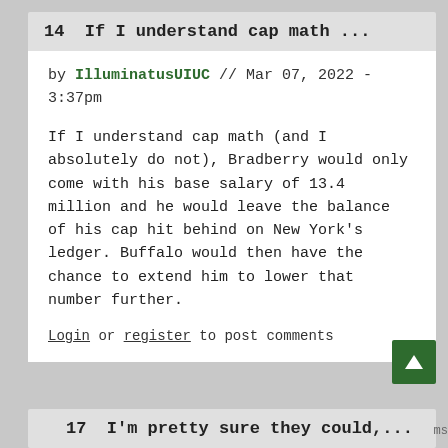14  If I understand cap math ...
by IlluminatusUIUC // Mar 07, 2022 - 3:37pm
If I understand cap math (and I absolutely do not), Bradberry would only come with his base salary of 13.4 million and he would leave the balance of his cap hit behind on New York's ledger. Buffalo would then have the chance to extend him to lower that number further.
Login or register to post comments
17  I'm pretty sure they could,...